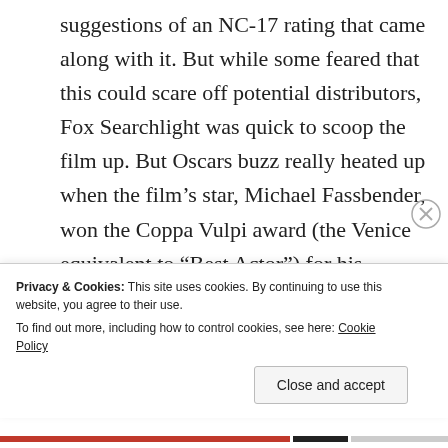suggestions of an NC-17 rating that came along with it. But while some feared that this could scare off potential distributors, Fox Searchlight was quick to scoop the film up. But Oscars buzz really heated up when the film's star, Michael Fassbender, won the Coppa Vulpi award (the Venice equivalent to “Best Actor”) for his performance in the film. Literally overnight, Fassbender became a legitimate Oscar contender in the eyes of many (he originally was
Privacy & Cookies: This site uses cookies. By continuing to use this website, you agree to their use.
To find out more, including how to control cookies, see here: Cookie Policy
Close and accept